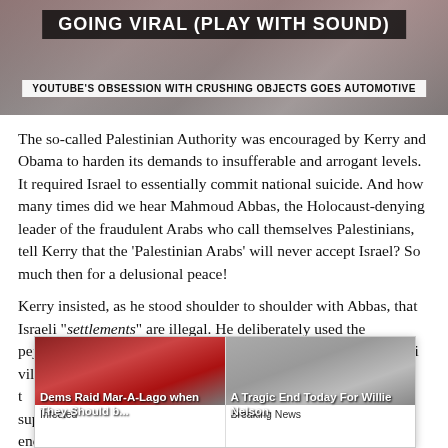[Figure (screenshot): TV news banner reading GOING VIRAL (PLAY WITH SOUND) with subtitle YOUTUBE'S OBSESSION WITH CRUSHING OBJECTS GOES AUTOMOTIVE]
The so-called Palestinian Authority was encouraged by Kerry and Obama to harden its demands to insufferable and arrogant levels. It required Israel to essentially commit national suicide. And how many times did we hear Mahmoud Abbas, the Holocaust-denying leader of the fraudulent Arabs who call themselves Palestinians, tell Kerry that the ‘Palestinian Arabs’ will never accept Israel? So much then for a delusional peace!
Kerry insisted, as he stood shoulder to shoulder with Abbas, that Israeli “settlements” are illegal. He deliberately used the pejorative term, “settlements” to demean and delegitimize Israeli villages and towns. The PA and the world’s anti-Semites and supporters of Palestinian terror were thus encouraged by Kerry’s deliberate and egregious use of this term to murder and commit terror against Israelis, as they have
[Figure (screenshot): Two popup ad thumbnails: left shows Trump with caption 'Dems Raid Mar-A-Lago when They Should b...' sourced from Infected; right shows elderly man with caption 'A Tragic End Today For Willie Nelson' sourced from Breaking News. A close button (x) is in top right corner.]